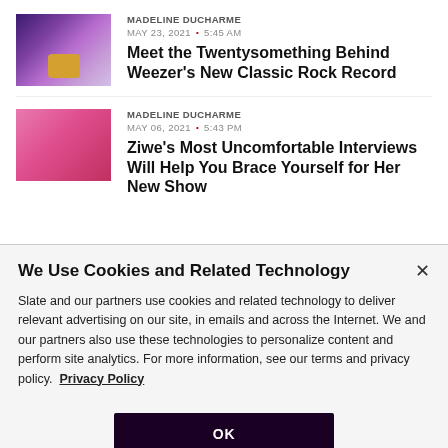MADELINE DUCHARME
MAY 23, 2021 · 5:45 AM
Meet the Twentysomething Behind Weezer's New Classic Rock Record
MADELINE DUCHARME
MAY 06, 2021 · 5:43 PM
Ziwe's Most Uncomfortable Interviews Will Help You Brace Yourself for Her New Show
We Use Cookies and Related Technology
Slate and our partners use cookies and related technology to deliver relevant advertising on our site, in emails and across the Internet. We and our partners also use these technologies to personalize content and perform site analytics. For more information, see our terms and privacy policy.  Privacy Policy
OK